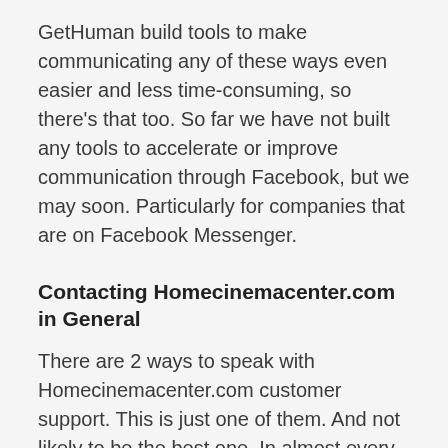GetHuman build tools to make communicating any of these ways even easier and less time-consuming, so there's that too. So far we have not built any tools to accelerate or improve communication through Facebook, but we may soon. Particularly for companies that are on Facebook Messenger.
Contacting Homecinemacenter.com in General
There are 2 ways to speak with Homecinemacenter.com customer support. This is just one of them. And not likely to be the best one. In almost every case, you would want to call Homecinemacenter.com if possible, or use the GetHuman Phone to call them so you don't have to wait on hold. The best way to talk to customer care,